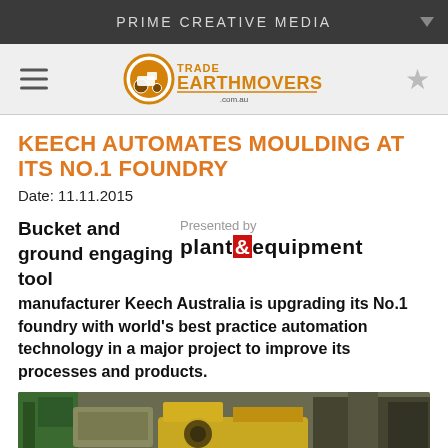PRIME CREATIVE MEDIA
[Figure (logo): Trade Earthmovers logo with orange tractor icon and orange/black text]
KEECH AUTOMATES MOULDING AT ITS NO.1 FOUNDRY
Date: 11.11.2015
Bucket and ground engaging tool manufacturer Keech Australia is upgrading its No.1 foundry with world's best practice automation technology in a major project to improve its processes and products.
[Figure (logo): Presented by plant&equipment logo]
[Figure (photo): Industrial foundry equipment, yellow machinery visible]